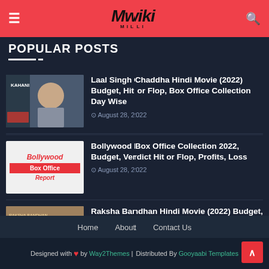Mwiki
POPULAR POSTS
Laal Singh Chaddha Hindi Movie (2022) Budget, Hit or Flop, Box Office Collection Day Wise | August 28, 2022
Bollywood Box Office Collection 2022, Budget, Verdict Hit or Flop, Profits, Loss | August 28, 2022
Raksha Bandhan Hindi Movie (2022) Budget, Hit or Flop, Box Office Collection Day Wise | August 28, 2022
Home | About | Contact Us
Designed with ❤ by Way2Themes | Distributed By Gooyaabi Templates